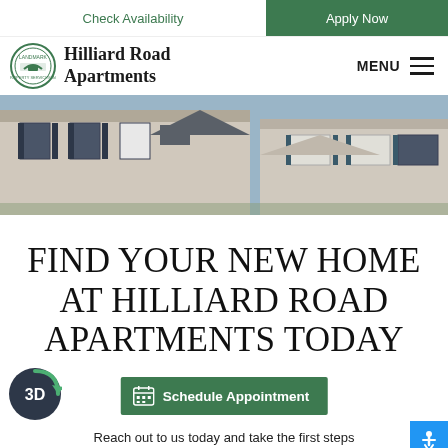Check Availability | Apply Now
[Figure (logo): Landmark Property Services circular logo with bridge graphic]
Hilliard Road Apartments
MENU
[Figure (photo): Exterior photo of brick apartment building with dark shutters and peaked roof dormer]
FIND YOUR NEW HOME AT HILLIARD ROAD APARTMENTS TODAY
[Figure (logo): 3D tour icon - dark circle with green arrow and '3D' text]
Schedule Appointment
Reach out to us today and take the first steps